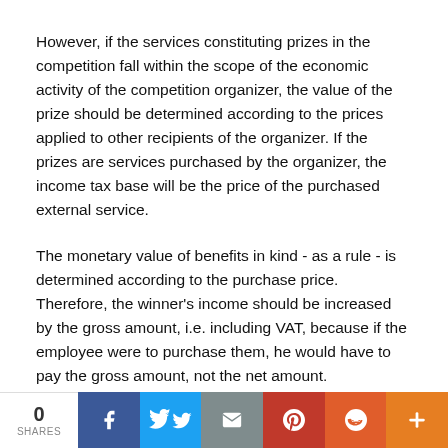However, if the services constituting prizes in the competition fall within the scope of the economic activity of the competition organizer, the value of the prize should be determined according to the prices applied to other recipients of the organizer. If the prizes are services purchased by the organizer, the income tax base will be the price of the purchased external service.
The monetary value of benefits in kind - as a rule - is determined according to the purchase price. Therefore, the winner's income should be increased by the gross amount, i.e. including VAT, because if the employee were to purchase them, he would have to pay the gross amount, not the net amount.
0 SHARES  [Social share buttons: Facebook, Twitter, Email, Pinterest, Reddit, Plus]